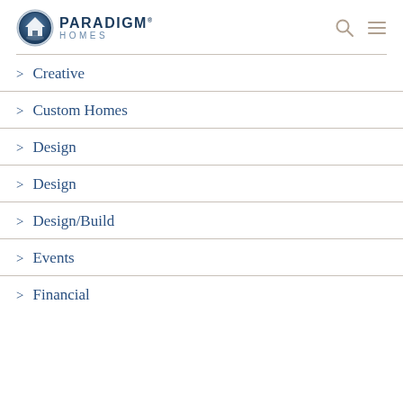Paradigm Homes
> Creative
> Custom Homes
> Design
> Design
> Design/Build
> Events
> Financial